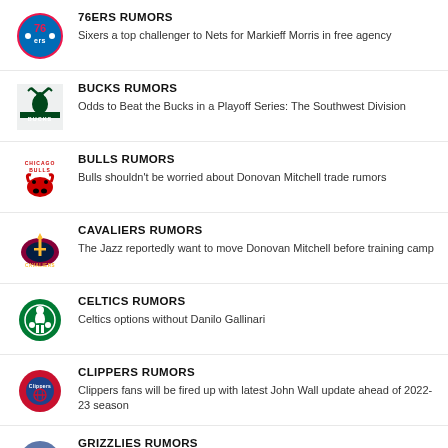76ERS RUMORS
Sixers a top challenger to Nets for Markieff Morris in free agency
BUCKS RUMORS
Odds to Beat the Bucks in a Playoff Series: The Southwest Division
BULLS RUMORS
Bulls shouldn't be worried about Donovan Mitchell trade rumors
CAVALIERS RUMORS
The Jazz reportedly want to move Donovan Mitchell before training camp
CELTICS RUMORS
Celtics options without Danilo Gallinari
CLIPPERS RUMORS
Clippers fans will be fired up with latest John Wall update ahead of 2022-23 season
GRIZZLIES RUMORS